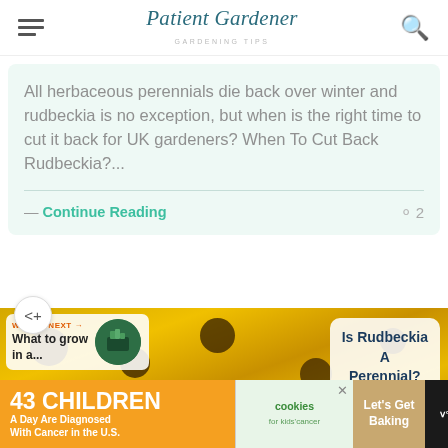Patient Gardener — GARDENING TIPS
All herbaceous perennials die back over winter and rudbeckia is no exception, but when is the right time to cut it back for UK gardeners? When To Cut Back Rudbeckia?...
— Continue Reading
◯2
[Figure (photo): Yellow rudbeckia (black-eyed Susan) flowers in bloom, used as background image for a next article strip]
WHAT'S NEXT → What to grow in a...
Is Rudbeckia A Perennial?
[Figure (infographic): Advertisement banner: '43 CHILDREN A Day Are Diagnosed With Cancer in the U.S.' with cookies for kids' cancer logo and 'Let's Get Baking' call to action]